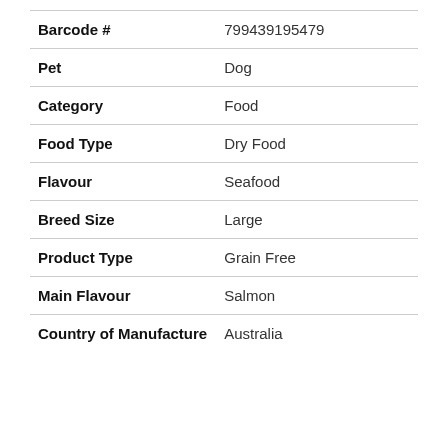| Field | Value |
| --- | --- |
| Barcode # | 799439195479 |
| Pet | Dog |
| Category | Food |
| Food Type | Dry Food |
| Flavour | Seafood |
| Breed Size | Large |
| Product Type | Grain Free |
| Main Flavour | Salmon |
| Country of Manufacture | Australia |